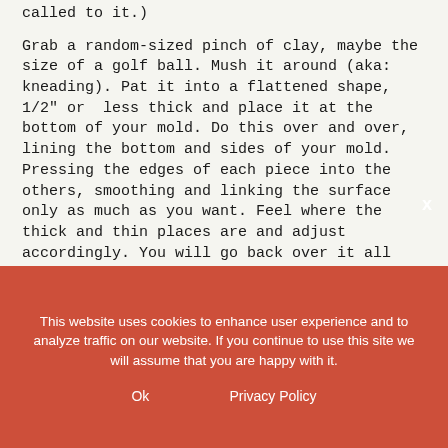called to it.)
Grab a random-sized pinch of clay, maybe the size of a golf ball. Mush it around (aka: kneading). Pat it into a flattened shape, 1/2" or less thick and place it at the bottom of your mold. Do this over and over, lining the bottom and sides of your mold. Pressing the edges of each piece into the others, smoothing and linking the surface only as much as you want. Feel where the thick and thin places are and adjust accordingly. You will go back over it all when the mold is completely lined.
This website uses cookies to enhance user experience and to analyze traffic on our website. If you continue to use this site we will assume that you are happy with it.
Ok
Privacy Policy